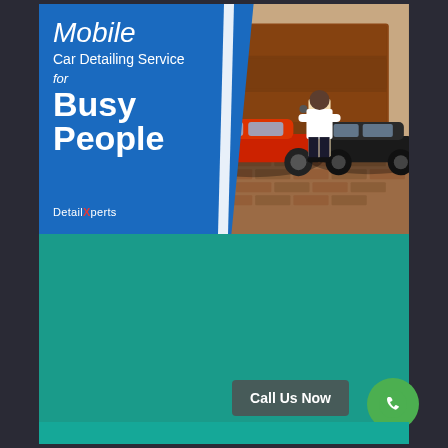[Figure (photo): Mobile car detailing advertisement banner showing a man in white shirt standing between a red Porsche and black SUV in front of a garage]
Mobile Car Detailing Service for Busy People
[Figure (logo): Detail Xperts logo in white text on blue background]
Call Us Now